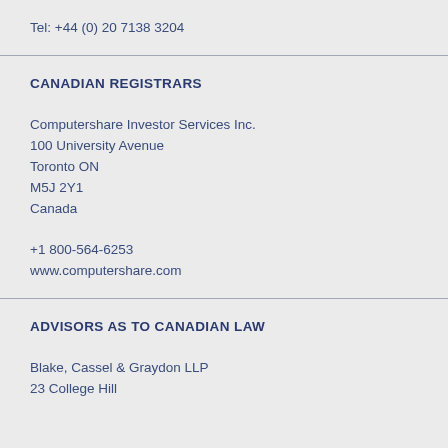Tel: +44 (0) 20 7138 3204
CANADIAN REGISTRARS
Computershare Investor Services Inc.
100 University Avenue
Toronto ON
M5J 2Y1
Canada

+1 800-564-6253
www.computershare.com
ADVISORS AS TO CANADIAN LAW
Blake, Cassel & Graydon LLP
23 College Hill